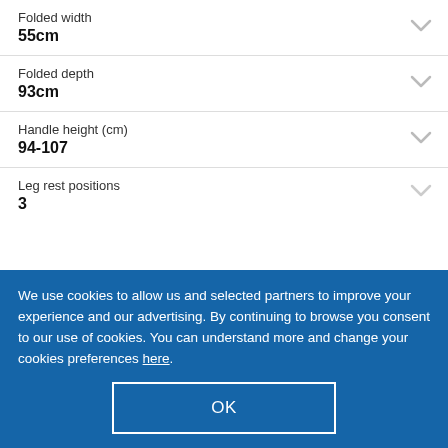Folded width
55cm
Folded depth
93cm
Handle height (cm)
94-107
Leg rest positions
3
We use cookies to allow us and selected partners to improve your experience and our advertising. By continuing to browse you consent to our use of cookies. You can understand more and change your cookies preferences here.